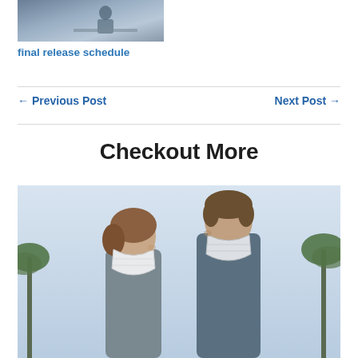[Figure (photo): Thumbnail photo of a person at a desk or workstation]
final release schedule
← Previous Post   Next Post →
Checkout More
[Figure (photo): A couple facing each other, both wearing surgical face masks, with palm trees and a light sky in the background]